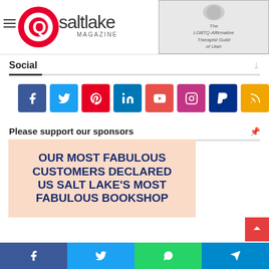[Figure (logo): QSaltLake Magazine logo with red circle Q and white text]
[Figure (logo): The LGBTQ-Affirmative Therapist Guild of Utah logo]
Social
[Figure (infographic): Social media icon buttons: Facebook, Twitter, Pinterest, LinkedIn, YouTube, Instagram, PayPal, RSS]
Please support our sponsors
[Figure (photo): Sponsor ad with peach background reading OUR MOST FABULOUS CUSTOMERS DECLARED US SALT LAKE'S MOST FABULOUS BOOKSHOP]
[Figure (infographic): Bottom share bar with Facebook, Twitter, WhatsApp, Telegram buttons]